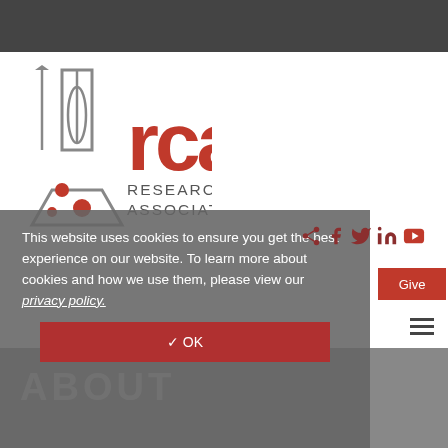[Figure (logo): Research Chefs Association logo with flask/whisk icon and RCA text in red with 'RESEARCH CHEFS ASSOCIATION' subtitle]
This website uses cookies to ensure you get the best experience on our website. To learn more about cookies and how we use them, please view our privacy policy.
✓ OK
Give
ABOUT